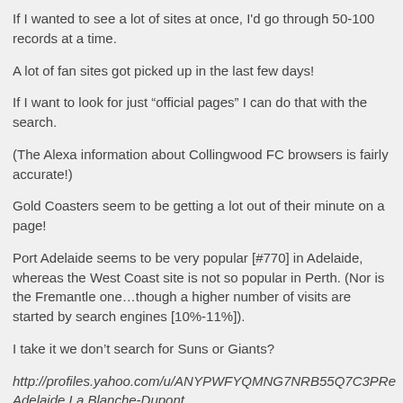If I wanted to see a lot of sites at once, I'd go through 50-100 records at a time.
A lot of fan sites got picked up in the last few days!
If I want to look for just “official pages” I can do that with the search.
(The Alexa information about Collingwood FC browsers is fairly accurate!)
Gold Coasters seem to be getting a lot out of their minute on a page!
Port Adelaide seems to be very popular [#770] in Adelaide, whereas the West Coast site is not so popular in Perth. (Nor is the Fremantle one…though a higher number of visits are started by search engines [10%-11%]).
I take it we don’t search for Suns or Giants?
http://profiles.yahoo.com/u/ANYPWFYQMNG7NRB55Q7C3PRe
Adelaide La Blanche-Dupont